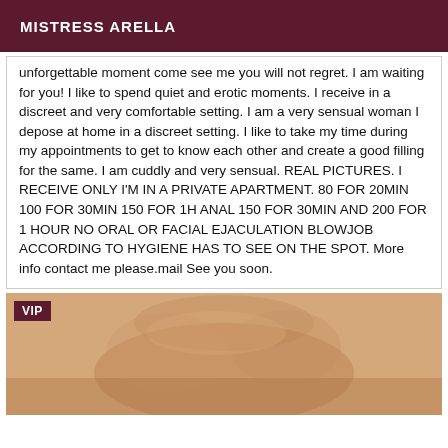MISTRESS ARELLA
unforgettable moment come see me you will not regret. I am waiting for you! I like to spend quiet and erotic moments. I receive in a discreet and very comfortable setting. I am a very sensual woman I depose at home in a discreet setting. I like to take my time during my appointments to get to know each other and create a good filling for the same. I am cuddly and very sensual. REAL PICTURES. I RECEIVE ONLY I'M IN A PRIVATE APARTMENT. 80 FOR 20MIN 100 FOR 30MIN 150 FOR 1H ANAL 150 FOR 30MIN AND 200 FOR 1 HOUR NO ORAL OR FACIAL EJACULATION BLOWJOB ACCORDING TO HYGIENE HAS TO SEE ON THE SPOT. More info contact me please.mail See you soon.
[Figure (photo): Partial body photo with VIP badge in top left corner, warm sepia tones]